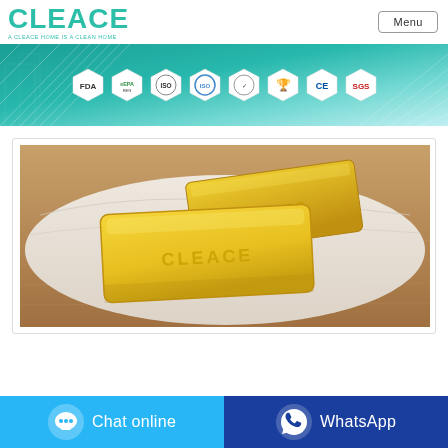[Figure (logo): CLEACE logo in teal/green color with tagline 'A CLEACE HOME IS A CLEAN HOME']
[Figure (infographic): Teal banner with certification badge icons: FDA, EPA, and 6 other certification seals including CE and SGS]
[Figure (photo): Product photo of yellow CLEACE branded soap bars on white cloth over wooden surface]
Chat online
WhatsApp